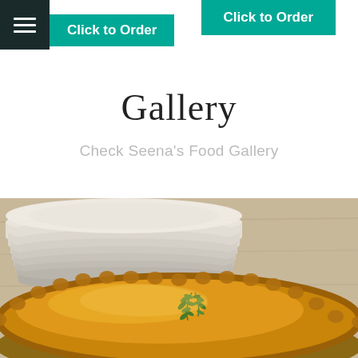Click to Order (left button), Click to Order (right button)
Gallery
Check Seena's Food Gallery
[Figure (photo): Close-up photo of a golden-brown baked pie with crimped pastry edges and a sprig of fresh herbs (thyme) on top, with a stack of white plates blurred in the background on a wooden surface.]